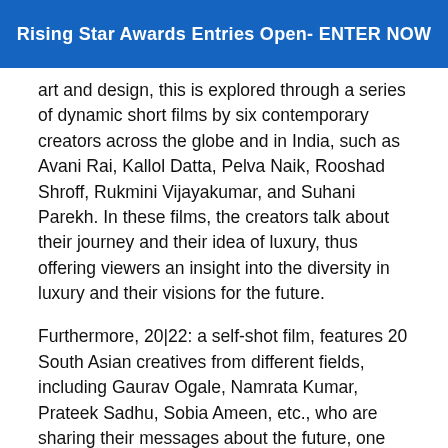Rising Star Awards Entries Open- ENTER NOW
art and design, this is explored through a series of dynamic short films by six contemporary creators across the globe and in India, such as Avani Rai, Kallol Datta, Pelva Naik, Rooshad Shroff, Rukmini Vijayakumar, and Suhani Parekh. In these films, the creators talk about their journey and their idea of luxury, thus offering viewers an insight into the diversity in luxury and their visions for the future.
Furthermore, 20|22: a self-shot film, features 20 South Asian creatives from different fields, including Gaurav Ogale, Namrata Kumar, Prateek Sadhu, Sobia Ameen, etc., who are sharing their messages about the future, one based on hope and optimism.